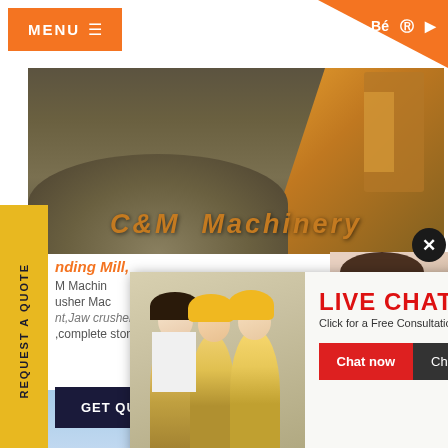MENU ≡
[Figure (screenshot): C&M Machinery website screenshot showing hero banner with industrial crushing/grinding machinery, orange header with menu and social icons, live chat popup, request a quote sidebar, get quote button, and right-side customer service panel.]
LIVE CHAT
Click for a Free Consultation
Chat now
Chat later
REQUEST A QUOTE
nding Mill,
M Machin
usher Mac
nt,Jaw crusher,Impact crusher,cone crusher
,complete stone crusher plant for you, if y
GET QUOTE
Have any requests, click here.
Quota
Enquiry
drobilkalm